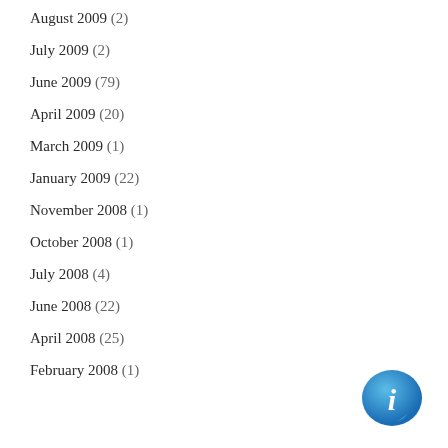August 2009 (2)
July 2009 (2)
June 2009 (79)
April 2009 (20)
March 2009 (1)
January 2009 (22)
November 2008 (1)
October 2008 (1)
July 2008 (4)
June 2008 (22)
April 2008 (25)
February 2008 (1)
[Figure (illustration): Blue speech bubble info icon with italic letter i]